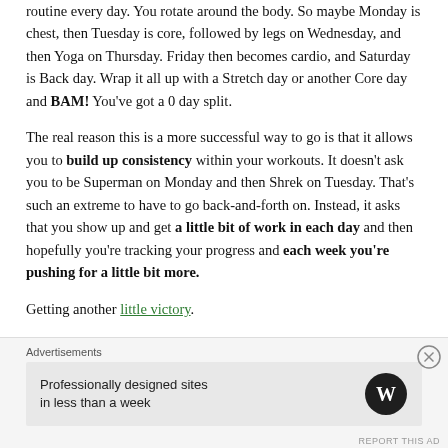routine every day. You rotate around the body. So maybe Monday is chest, then Tuesday is core, followed by legs on Wednesday, and then Yoga on Thursday. Friday then becomes cardio, and Saturday is Back day. Wrap it all up with a Stretch day or another Core day and BAM! You've got a 0 day split.
The real reason this is a more successful way to go is that it allows you to build up consistency within your workouts. It doesn't ask you to be Superman on Monday and then Shrek on Tuesday. That's such an extreme to have to go back-and-forth on. Instead, it asks that you show up and get a little bit of work in each day and then hopefully you're tracking your progress and each week you're pushing for a little bit more.
Getting another little victory.
Advertisements
Professionally designed sites in less than a week